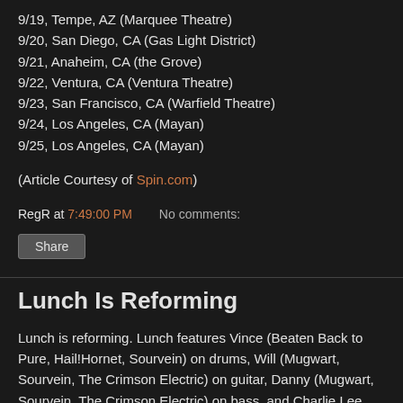9/19, Tempe, AZ (Marquee Theatre)
9/20, San Diego, CA (Gas Light District)
9/21, Anaheim, CA (the Grove)
9/22, Ventura, CA (Ventura Theatre)
9/23, San Francisco, CA (Warfield Theatre)
9/24, Los Angeles, CA (Mayan)
9/25, Los Angeles, CA (Mayan)
(Article Courtesy of Spin.com)
RegR at 7:49:00 PM    No comments:
Share
Lunch Is Reforming
Lunch is reforming. Lunch features Vince (Beaten Back to Pure, Hail!Hornet, Sourvein) on drums, Will (Mugwart, Sourvein, The Crimson Electric) on guitar, Danny (Mugwart, Sourvein, The Crimson Electric) on bass, and Charlie Lee Beasley (Mugwart) on vocals. No release date is set for the